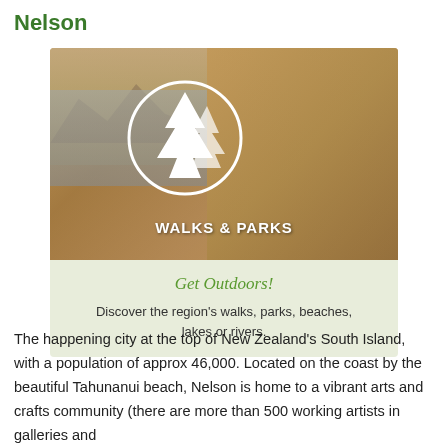Nelson
[Figure (photo): Photo of a group of people hiking outdoors with a scenic lake and mountains in the background, overlaid with a white circle icon of pine trees and the text 'WALKS & PARKS'. Below the photo is a light green box with italic text 'Get Outdoors!' and description about walks, parks, beaches, lakes or rivers.]
The happening city at the top of New Zealand's South Island, with a population of approx 46,000.  Located on the coast by the beautiful Tahunanui beach, Nelson is home to a vibrant arts and crafts community (there are more than 500 working artists in galleries and